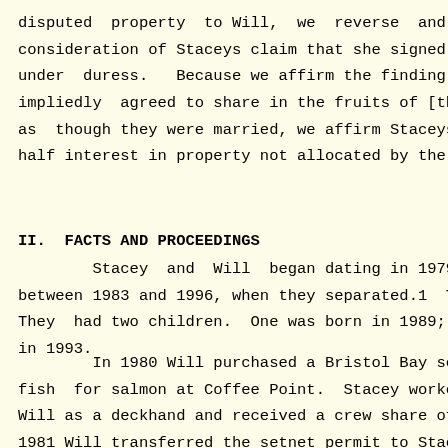disputed  property  to Will,  we  reverse  and  rema consideration of Staceys claim that she signed the 1996 a under  duress.   Because we affirm the finding that  the impliedly  agreed to share in the fruits of [their]  rela as  though they were married, we affirm Staceys award of half interest in property not allocated by the 1996 agree
II.  FACTS AND PROCEEDINGS
Stacey  and  Will  began dating in 1979  and  d between 1983 and 1996, when they separated.1  They never They  had two children.  One was born in 1989; the other in 1993.
In 1980 Will purchased a Bristol Bay setnet pe fish  for salmon at Coffee Point.  Stacey worked that sur Will as a deckhand and received a crew share of the proce 1981 Will transferred the setnet permit to Stacey and pur